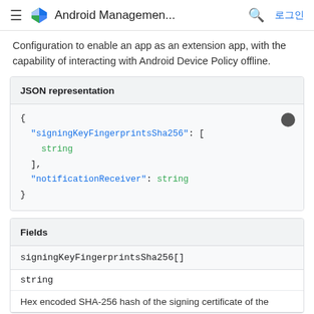Android Managemen... 로그인
Configuration to enable an app as an extension app, with the capability of interacting with Android Device Policy offline.
JSON representation
{
  "signingKeyFingerprintsSha256": [
    string
  ],
  "notificationReceiver": string
}
Fields
signingKeyFingerprintsSha256[]
string
Hex encoded SHA-256 hash of the signing certificate of the